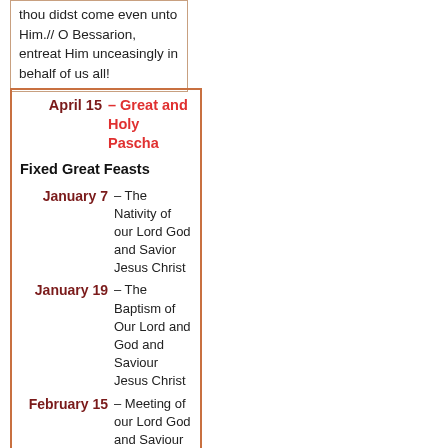thou didst come even unto Him.// O Bessarion, entreat Him unceasingly in behalf of us all!
| Date | Feast |
| --- | --- |
| April 15 | – Great and Holy Pascha |
|  | Fixed Great Feasts |
| January 7 | – The Nativity of our Lord God and Savior Jesus Christ |
| January 19 | – The Baptism of Our Lord and God and Saviour Jesus Christ |
| February 15 | – Meeting of our Lord God and Saviour Jesus Christ in the Temple |
| April 7 | – The Annunciation of Our Most Holy Lady, the |